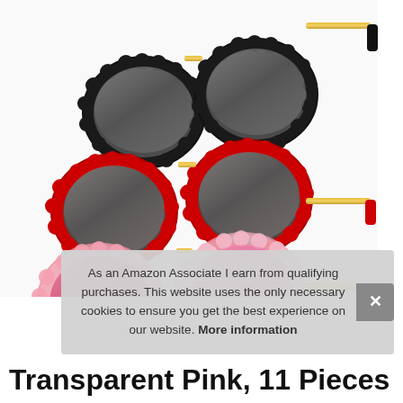[Figure (photo): Product photo of three pairs of heart-shaped scalloped-frame sunglasses stacked: black frames on top, red frames in middle, transparent pink frames at bottom. All have gold metal temples. Lenses are dark grey tinted.]
As an Amazon Associate I earn from qualifying purchases. This website uses the only necessary cookies to ensure you get the best experience on our website. More information
Transparent Pink, 11 Pieces Kids